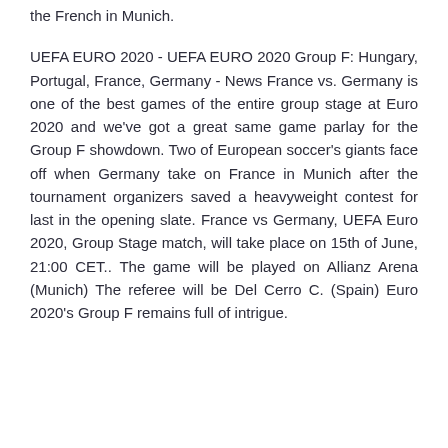the French in Munich.
UEFA EURO 2020 - UEFA EURO 2020 Group F: Hungary, Portugal, France, Germany - News France vs. Germany is one of the best games of the entire group stage at Euro 2020 and we've got a great same game parlay for the Group F showdown. Two of European soccer's giants face off when Germany take on France in Munich after the tournament organizers saved a heavyweight contest for last in the opening slate. France vs Germany, UEFA Euro 2020, Group Stage match, will take place on 15th of June, 21:00 CET.. The game will be played on Allianz Arena (Munich) The referee will be Del Cerro C. (Spain) Euro 2020's Group F remains full of intrigue.